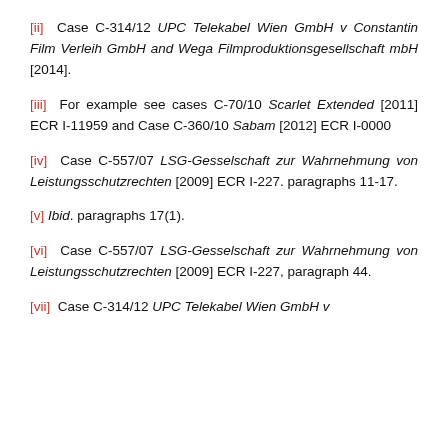[ii] Case C-314/12 UPC Telekabel Wien GmbH v Constantin Film Verleih GmbH and Wega Filmproduktionsgesellschaft mbH [2014].
[iii] For example see cases C-70/10 Scarlet Extended [2011] ECR I-11959 and Case C-360/10 Sabam [2012] ECR I-0000
[iv] Case C-557/07 LSG-Gesselschaft zur Wahrnehmung von Leistungsschutzrechten [2009] ECR I-227. paragraphs 11-17.
[v] Ibid. paragraphs 17(1).
[vi] Case C-557/07 LSG-Gesselschaft zur Wahrnehmung von Leistungsschutzrechten [2009] ECR I-227, paragraph 44.
[vii] Case C-314/12 UPC Telekabel Wien GmbH v